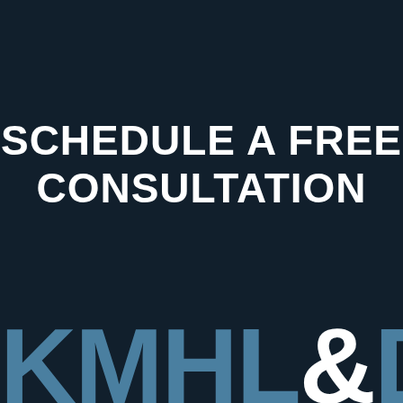SCHEDULE A FREE CONSULTATION
[Figure (logo): KMHL&D law firm logo in large bold letters, with KMHL and D in steel blue and the ampersand in white, displayed at the bottom of a dark navy background]